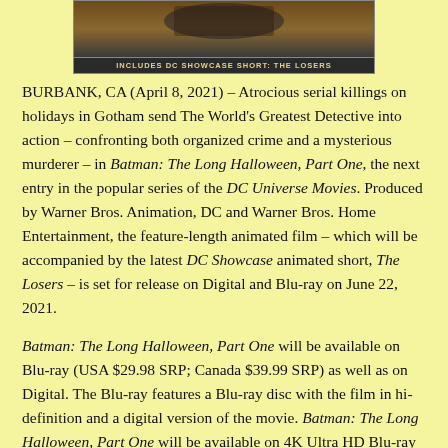[Figure (photo): Top portion of a Blu-ray box for Batman: The Long Halloween, Part One. A dark banner at the bottom reads 'INCLUDES DC SHOWCASE SHORT: THE LOSERS']
BURBANK, CA (April 8, 2021) – Atrocious serial killings on holidays in Gotham send The World's Greatest Detective into action – confronting both organized crime and a mysterious murderer – in Batman: The Long Halloween, Part One, the next entry in the popular series of the DC Universe Movies. Produced by Warner Bros. Animation, DC and Warner Bros. Home Entertainment, the feature-length animated film – which will be accompanied by the latest DC Showcase animated short, The Losers – is set for release on Digital and Blu-ray on June 22, 2021.
Batman: The Long Halloween, Part One will be available on Blu-ray (USA $29.98 SRP; Canada $39.99 SRP) as well as on Digital. The Blu-ray features a Blu-ray disc with the film in hi-definition and a digital version of the movie. Batman: The Long Halloween, Part One will be available on 4K Ultra HD Blu-ray Combo Pack at a later